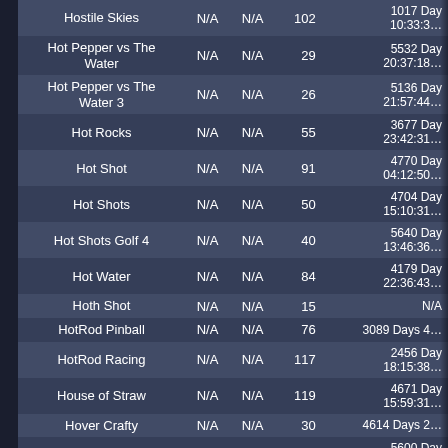| Name | N/A | N/A | Count | Duration |
| --- | --- | --- | --- | --- |
| Hostile Skies | N/A | N/A | 102 | 1017 Day 10:33:3... |
| Hot Pepper vs The Water | N/A | N/A | 29 | 5532 Day 20:37:18... |
| Hot Pepper vs The Water 3 | N/A | N/A | 26 | 5136 Day 21:57:44... |
| Hot Rocks | N/A | N/A | 55 | 3677 Day 23:42:31... |
| Hot Shot | N/A | N/A | 91 | 4770 Day 04:12:50... |
| Hot Shots | N/A | N/A | 50 | 4704 Day 15:10:31... |
| Hot Shots Golf 4 | N/A | N/A | 40 | 5640 Day 13:46:36... |
| Hot Water | N/A | N/A | 84 | 4179 Day 22:36:43... |
| Hoth Shot | N/A | N/A | 15 | N/A |
| HotRod Pinball | N/A | N/A | 76 | 3089 Days 4... |
| HotRod Racing | N/A | N/A | 117 | 2456 Day 18:15:38... |
| House of Straw | N/A | N/A | 119 | 4671 Day 15:59:31... |
| Hover Crafty | N/A | N/A | 30 | 4614 Days 2... |
| Hovercraft Racing | N/A | N/A | 75 | 5600 Day 03:55:43... |
| HS 100m Dash | N/A | N/A | 7 | N/A |
| HS Swimming | N/A | N/A | 16 | N/A |
| HTF Crazy Disco | N/A | N/A | 49 | 5722 Day 10:56:38... |